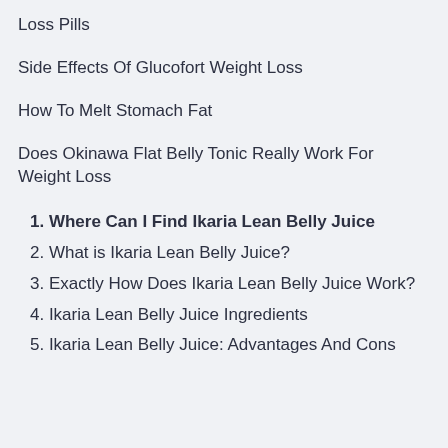Loss Pills
Side Effects Of Glucofort Weight Loss
How To Melt Stomach Fat
Does Okinawa Flat Belly Tonic Really Work For Weight Loss
1. Where Can I Find Ikaria Lean Belly Juice
2. What is Ikaria Lean Belly Juice?
3. Exactly How Does Ikaria Lean Belly Juice Work?
4. Ikaria Lean Belly Juice Ingredients
5. Ikaria Lean Belly Juice: Advantages And Cons